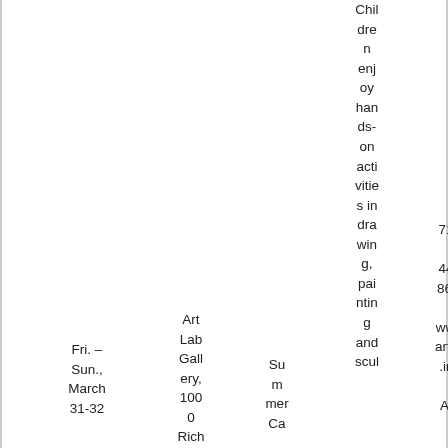Fri. – Sun., March 31-32
Art Lab Gallery, 1000 Rich
Summer Ca
Children enjoy hands-on activities in drawing, painting and scul
718-447-8667
www.artlab.info
AM,